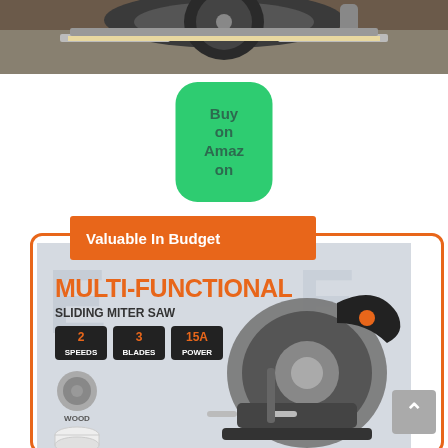[Figure (photo): Close-up photo of a miter saw on a workbench, top of page]
Buy on Amazon
Valuable In Budget
[Figure (photo): Product image of a Multi-Functional Sliding Miter Saw showing 2 Speeds, 3 Blades, 15A Power features, with wood and PVC pipe material icons]